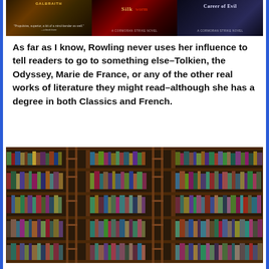[Figure (photo): Three book covers visible at top: Galbraith author name on first, Silkworm (A Cormoran Strike Novel) on second, and another Cormoran Strike novel on third]
As far as I know, Rowling never uses her influence to tell readers to go to something else–Tolkien, the Odyssey, Marie de France, or any of the other real works of literature they might read–although she has a degree in both Classics and French.
[Figure (photo): Photograph of a large library bookshelf filled with many books of various colors and sizes, with a wooden ladder leaning against the shelves]